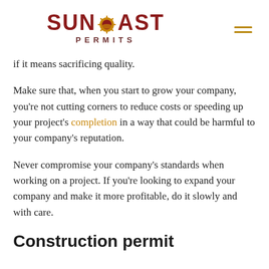SUNCOAST PERMITS
if it means sacrificing quality.
Make sure that, when you start to grow your company, you're not cutting corners to reduce costs or speeding up your project's completion in a way that could be harmful to your company's reputation.
Never compromise your company's standards when working on a project. If you're looking to expand your company and make it more profitable, do it slowly and with care.
Construction permit